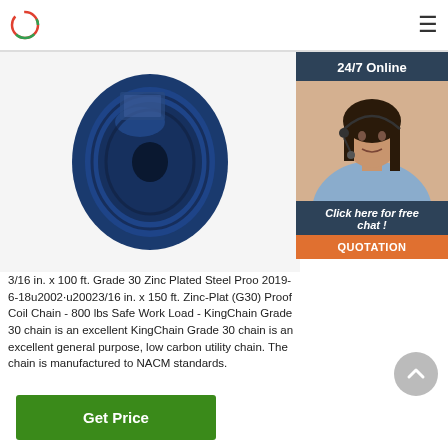24/7 Online
[Figure (photo): Blue coiled chain reel product photo]
[Figure (photo): Customer service representative with headset smiling]
3/16 in. x 100 ft. Grade 30 Zinc Plated Steel Proo 2019-6-18u2002·u20023/16 in. x 150 ft. Zinc-Plat (G30) Proof Coil Chain - 800 lbs Safe Work Load - KingChain Grade 30 chain is an excellent KingChain Grade 30 chain is an excellent general purpose, low carbon utility chain. The chain is manufactured to NACM standards.
Click here for free chat !
QUOTATION
Get Price